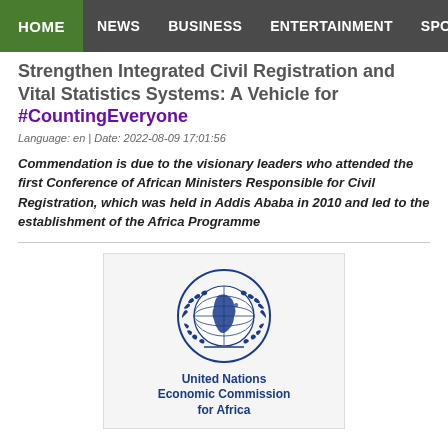HOME | NEWS | BUSINESS | ENTERTAINMENT | SPORT
Strengthen Integrated Civil Registration and Vital Statistics Systems: A Vehicle for #CountingEveryone
Language: en | Date: 2022-08-09 17:01:56
Commendation is due to the visionary leaders who attended the first Conference of African Ministers Responsible for Civil Registration, which was held in Addis Ababa in 2010 and led to the establishment of the Africa Programme
[Figure (logo): United Nations Economic Commission for Africa logo — blue globe with laurel wreath and text 'United Nations Economic Commission for Africa']
Inaugural East Africa Community (EAC) Steering Committee on the Implementation of the AU Declaration on Land Develops Road Map